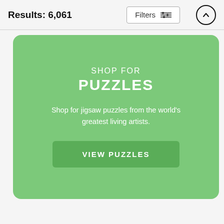Results: 6,061
[Figure (screenshot): Filters button with sliders icon and up-arrow circle button in the top bar]
SHOP FOR PUZZLES
Shop for jigsaw puzzles from the world's greatest living artists.
VIEW PUZZLES